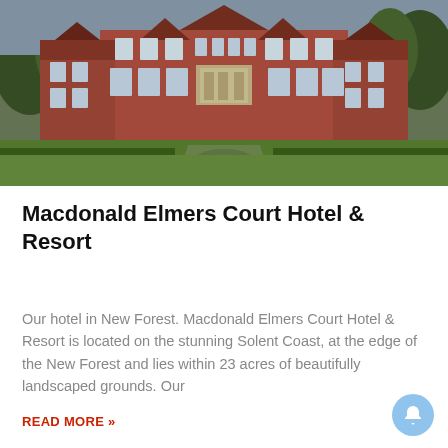[Figure (photo): Exterior photo of Macdonald Elmers Court Hotel & Resort — a large Victorian red-brick country house with Tudor gabling, set against formal landscaped lawns with a circular garden feature in the foreground, flanked by hedges and trees.]
Macdonald Elmers Court Hotel & Resort
Our hotel in New Forest. Macdonald Elmers Court Hotel & Resort is located on the stunning Solent Coast, at the edge of the New Forest and lies within 23 acres of beautifully landscaped grounds. Our
READ MORE »